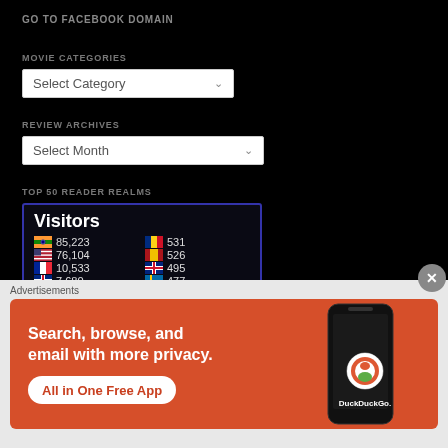GO TO FACEBOOK DOMAIN
MOVIE CATEGORIES
Select Category
REVIEW ARCHIVES
Select Month
TOP 50 READER REALMS
[Figure (infographic): Visitors widget showing country flags and visitor counts: India 85,223; USA 76,104; France 10,533; UK 7,680; Romania 531; Spain 526; New Zealand 495; Sweden 477]
Advertisements
[Figure (illustration): DuckDuckGo advertisement banner with orange background. Text reads: Search, browse, and email with more privacy. All in One Free App. Shows a phone with DuckDuckGo logo.]